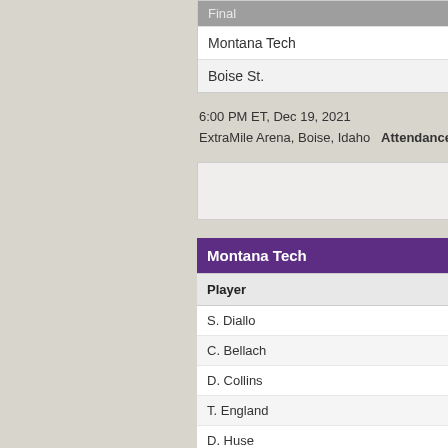| Final |
| --- |
| Montana Tech |
| Boise St. |
6:00 PM ET, Dec 19, 2021
ExtraMile Arena, Boise, Idaho  Attendance: 6,429
Box
Montana Tech
| Player | M |
| --- | --- |
| S. Diallo | 3 |
| C. Bellach | 2 |
| D. Collins | 2 |
| T. England | 2 |
| D. Huse | 2 |
| K. Bake | 1 |
| M. Ure | 1 |
| C. LaRance | 1 |
| B. Larson | 8 |
| C. Baumstarck | 7 |
| C. Jones | 6 |
| J. Baer | 3 |
| Totals | 19 |